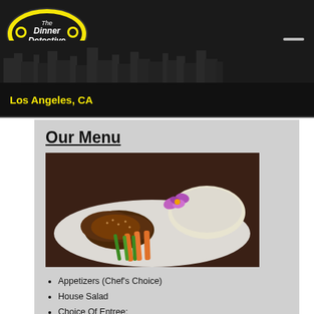[Figure (logo): The Dinner Detective logo — yellow oval with text 'The Dinner Detective' and detective face graphics]
Los Angeles, CA
Our Menu
[Figure (photo): Plated dinner dish: grilled chicken with teriyaki sauce, orange carrots, green asparagus, white rice, and a purple orchid flower garnish on a white plate]
Appetizers (Chef's Choice)
House Salad
Choice Of Entree:
Chicken Marsala